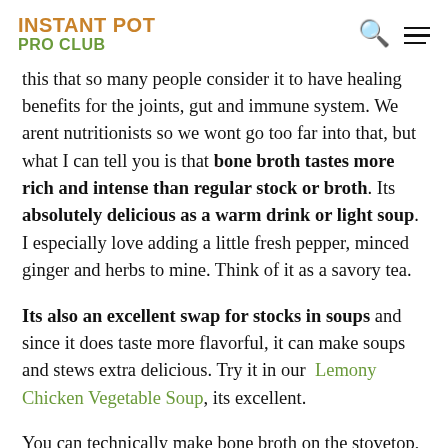INSTANT POT PRO CLUB
this that so many people consider it to have healing benefits for the joints, gut and immune system. We arent nutritionists so we wont go too far into that, but what I can tell you is that bone broth tastes more rich and intense than regular stock or broth. Its absolutely delicious as a warm drink or light soup. I especially love adding a little fresh pepper, minced ginger and herbs to mine. Think of it as a savory tea.
Its also an excellent swap for stocks in soups and since it does taste more flavorful, it can make soups and stews extra delicious. Try it in our Lemony Chicken Vegetable Soup, its excellent.
You can technically make bone broth on the stovetop, but it will take a very long time over 24 hours. Since we cant commit